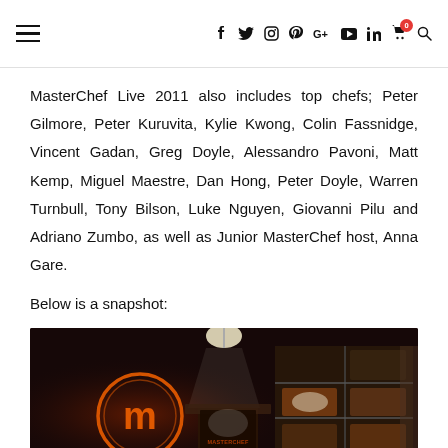Navigation header with hamburger menu and social/utility icons
MasterChef Live 2011 also includes top chefs; Peter Gilmore, Peter Kuruvita, Kylie Kwong, Colin Fassnidge, Vincent Gadan, Greg Doyle, Alessandro Pavoni, Matt Kemp, Miguel Maestre, Dan Hong, Peter Doyle, Warren Turnbull, Tony Bilson, Luke Nguyen, Giovanni Pilu and Adriano Zumbo, as well as Junior MasterChef host, Anna Gare.
Below is a snapshot:
[Figure (photo): MasterChef Live stage set with glowing orange MasterChef logo (stylized M in a circle), display shelving with food items, and decorative lighting in a dark studio environment]